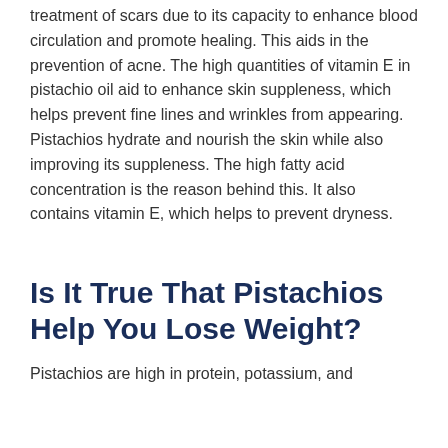treatment of scars due to its capacity to enhance blood circulation and promote healing. This aids in the prevention of acne. The high quantities of vitamin E in pistachio oil aid to enhance skin suppleness, which helps prevent fine lines and wrinkles from appearing. Pistachios hydrate and nourish the skin while also improving its suppleness. The high fatty acid concentration is the reason behind this. It also contains vitamin E, which helps to prevent dryness.
Is It True That Pistachios Help You Lose Weight?
Pistachios are high in protein, potassium, and